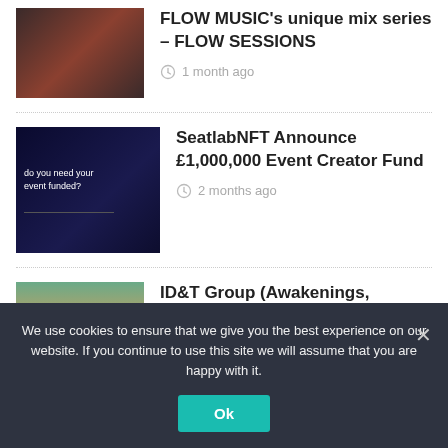[Figure (photo): Thumbnail photo of a person for FLOW MUSIC article]
FLOW MUSIC's unique mix series – FLOW SESSIONS
1 month ago
[Figure (photo): Dark blue promotional image with text 'do you need your event funded?' for SeatlabNFT article]
SeatlabNFT Announce £1,000,000 Event Creator Fund
2 months ago
[Figure (photo): Festival crowd photo for ID&T Group article]
ID&T Group (Awakenings, Mysteryland), part of Superstruct Entertainment,
We use cookies to ensure that we give you the best experience on our website. If you continue to use this site we will assume that you are happy with it.